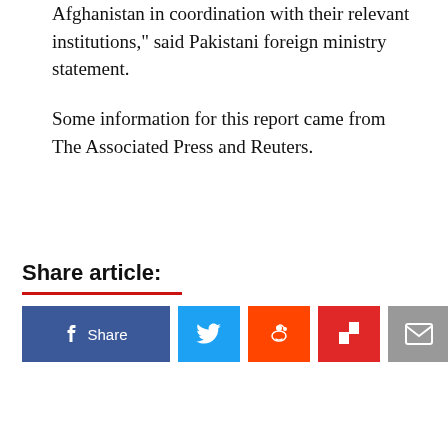Afghanistan in coordination with their relevant institutions," said Pakistani foreign ministry statement.
Some information for this report came from The Associated Press and Reuters.
Share article: